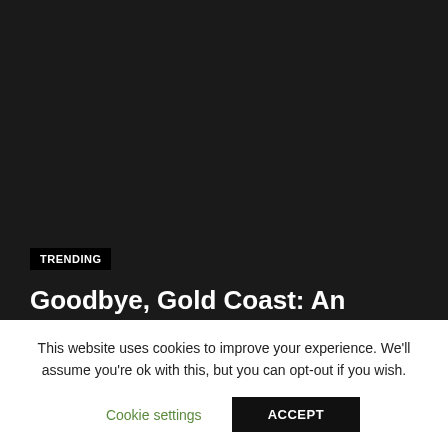[Figure (photo): Dark/black background image area taking up the top portion of the page]
TRENDING
Goodbye, Gold Coast: An Audio Journey to the Eve of Ghana's...
This website uses cookies to improve your experience. We'll assume you're ok with this, but you can opt-out if you wish.
Cookie settings
ACCEPT